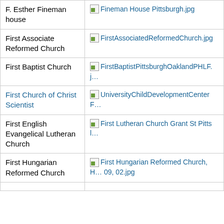| Name | Image |
| --- | --- |
| F. Esther Fineman house | Fineman House Pittsburgh.jpg |
| First Associate Reformed Church | FirstAssociatedReformedChurch.jpg |
| First Baptist Church | FirstBaptistPittsburghOaklandPHLF.j… |
| First Church of Christ Scientist | UniversityChildDevelopmentCenterF… |
| First English Evangelical Lutheran Church | First Lutheran Church Grant St Pittsl… |
| First Hungarian Reformed Church | First Hungarian Reformed Church, H… 09, 02.jpg |